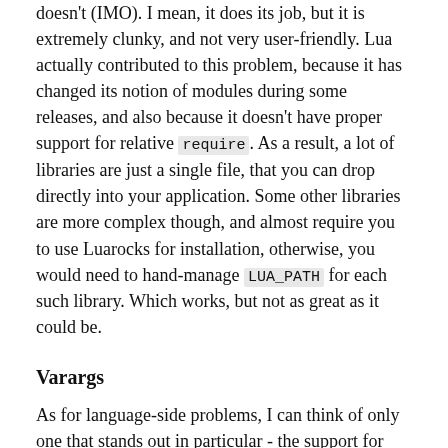doesn't (IMO). I mean, it does its job, but it is extremely clunky, and not very user-friendly. Lua actually contributed to this problem, because it has changed its notion of modules during some releases, and also because it doesn't have proper support for relative require. As a result, a lot of libraries are just a single file, that you can drop directly into your application. Some other libraries are more complex though, and almost require you to use Luarocks for installation, otherwise, you would need to hand-manage LUA_PATH for each such library. Which works, but not as great as it could be.
Varargs
As for language-side problems, I can think of only one that stands out in particular - the support for varargs ... and a multi-value return. There's a great article, going in-depth of vararg quirks, so I'll keep it brief. The main